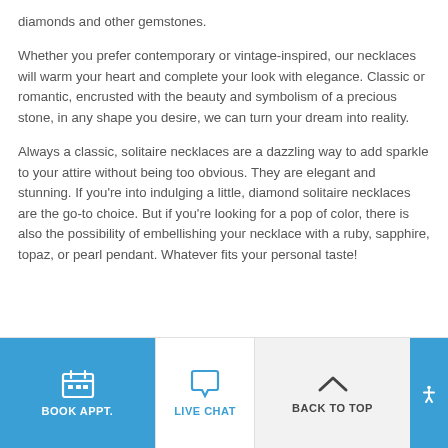diamonds and other gemstones.
Whether you prefer contemporary or vintage-inspired, our necklaces will warm your heart and complete your look with elegance. Classic or romantic, encrusted with the beauty and symbolism of a precious stone, in any shape you desire, we can turn your dream into reality.
Always a classic, solitaire necklaces are a dazzling way to add sparkle to your attire without being too obvious. They are elegant and stunning. If you're into indulging a little, diamond solitaire necklaces are the go-to choice. But if you're looking for a pop of color, there is also the possibility of embellishing your necklace with a ruby, sapphire, topaz, or pearl pendant. Whatever fits your personal taste!
BOOK APPT. | LIVE CHAT | BACK TO TOP